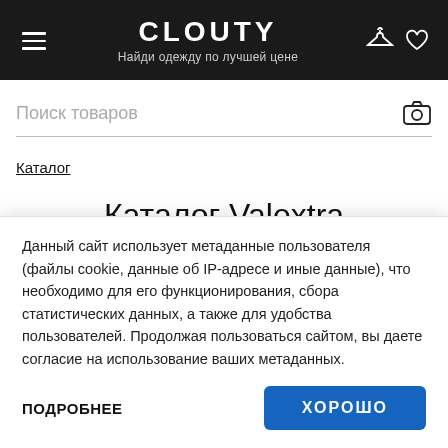CLOUTY — Найди одежду по лучшей цене
Поиск товаров
Каталог
Каталог Valextra
ФИЛЬТРЫ   НОВИНКИ
Данный сайт использует метаданные пользователя (файлы cookie, данные об IP-адресе и иные данные), что необходимо для его функционирования, сбора статистических данных, а также для удобства пользователей. Продолжая пользоваться сайтом, вы даете согласие на использование ваших метаданных.
ПОДРОБНЕЕ   ХОРОШО